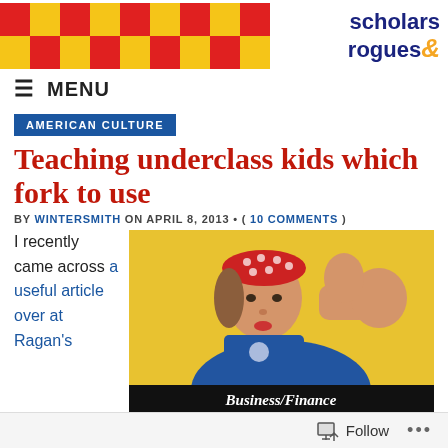scholars & rogues
MENU
AMERICAN CULTURE
Teaching underclass kids which fork to use
BY WINTERSMITH ON APRIL 8, 2013 • ( 10 COMMENTS )
I recently came across a useful article over at Ragan's
[Figure (photo): Rosie the Riveter iconic illustration of a woman flexing her arm muscle, wearing a red polka dot headband and blue denim shirt, on a yellow background, with a black banner at bottom reading Business/Finance]
Follow ...